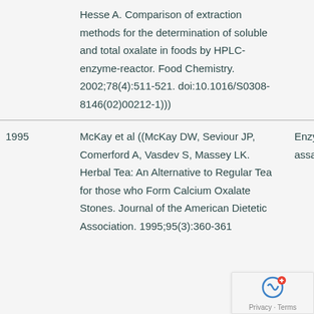Hesse A. Comparison of extraction methods for the determination of soluble and total oxalate in foods by HPLC-enzyme-reactor. Food Chemistry. 2002;78(4):511-521. doi:10.1016/S0308-8146(02)00212-1)))
1995
McKay et al ((McKay DW, Seviour JP, Comerford A, Vasdev S, Massey LK. Herbal Tea: An Alternative to Regular Tea for those who Form Calcium Oxalate Stones. Journal of the American Dietetic Association. 1995;95(3):360-361
Enzyme assa